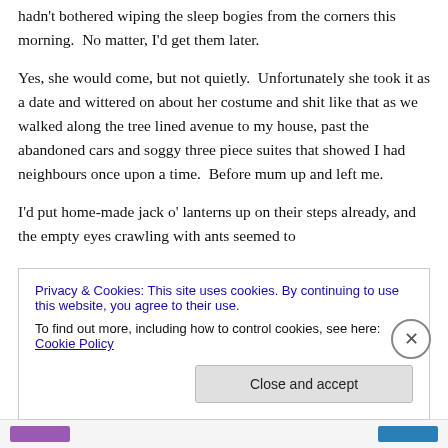hadn't bothered wiping the sleep bogies from the corners this morning.  No matter, I'd get them later.
Yes, she would come, but not quietly.  Unfortunately she took it as a date and wittered on about her costume and shit like that as we walked along the tree lined avenue to my house, past the abandoned cars and soggy three piece suites that showed I had neighbours once upon a time.  Before mum up and left me.
I'd put home-made jack o' lanterns up on their steps already, and the empty eyes crawling with ants seemed to
Privacy & Cookies: This site uses cookies. By continuing to use this website, you agree to their use.
To find out more, including how to control cookies, see here: Cookie Policy